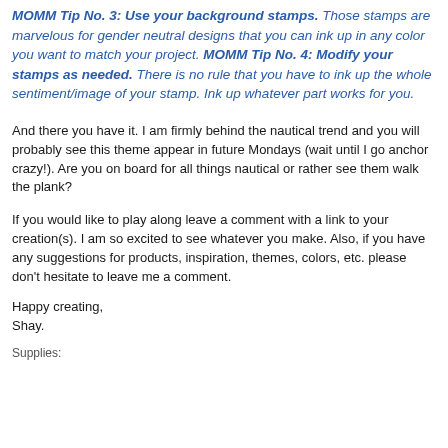MOMM Tip No. 3: Use your background stamps.  Those stamps are marvelous for gender neutral designs that you can ink up in any color you want to match your project. MOMM Tip No. 4: Modify your stamps as needed.  There is no rule that you have to ink up the whole sentiment/image of your stamp.  Ink up whatever part works for you.
And there you have it.  I am firmly behind the nautical trend and you will probably see this theme appear in future Mondays (wait until I go anchor crazy!).  Are you on board for all things nautical or rather see them walk the plank?
If you would like to play along leave a comment with a link to your creation(s). I am so excited to see whatever you make.  Also, if you have any suggestions for products, inspiration, themes, colors, etc. please don't hesitate to leave me a comment.
Happy creating,
Shay.
Supplies: